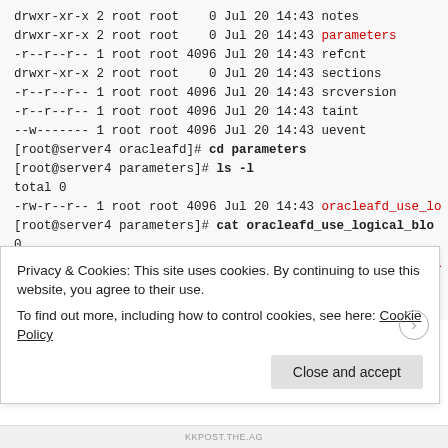drwxr-xr-x 2 root root    0 Jul 20 14:43 notes
drwxr-xr-x 2 root root    0 Jul 20 14:43 parameters
-r--r--r-- 1 root root 4096 Jul 20 14:43 refcnt
drwxr-xr-x 2 root root    0 Jul 20 14:43 sections
-r--r--r-- 1 root root 4096 Jul 20 14:43 srcversion
-r--r--r-- 1 root root 4096 Jul 20 14:43 taint
--w------- 1 root root 4096 Jul 20 14:43 uevent
[root@server4 oracleafd]# cd parameters
[root@server4 parameters]# ls -l
total 0
-rw-r--r-- 1 root root 4096 Jul 20 14:43 oracleafd_use_lo
[root@server4 parameters]# cat oracleafd_use_logical_blo
0
[root@server4 parameters]# echo 1 > oracleafd_use_logica
[root@server4 parameters]# cat oracleafd_use_logical_blo
1
Privacy & Cookies: This site uses cookies. By continuing to use this website, you agree to their use.
To find out more, including how to control cookies, see here: Cookie Policy